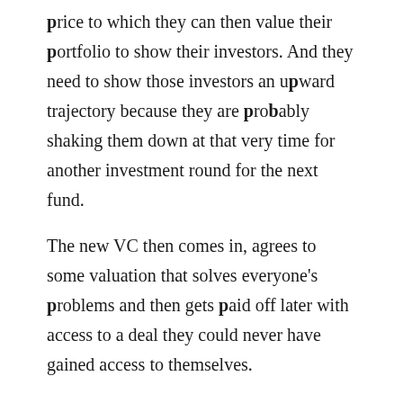price to which they can then value their portfolio to show their investors. And they need to show those investors an upward trajectory because they are probably shaking them down at that very time for another investment round for the next fund.
The new VC then comes in, agrees to some valuation that solves everyone's problems and then gets paid off later with access to a deal they could never have gained access to themselves.
Crap VCs have a strategy of helping bail out a top VC to get access to A Level deals